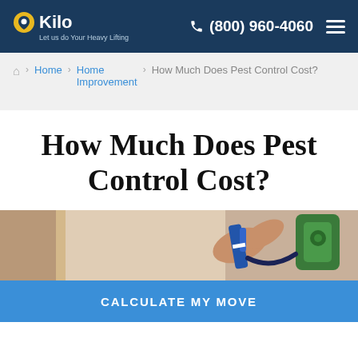Kilo - Let us do Your Heavy Lifting | (800) 960-4060
Home > Home Improvement > How Much Does Pest Control Cost?
How Much Does Pest Control Cost?
[Figure (photo): Person holding pest control equipment - blue and green sprayer/hose]
CALCULATE MY MOVE